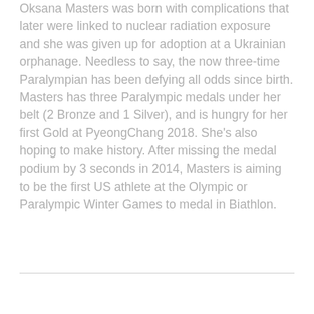Oksana Masters was born with complications that later were linked to nuclear radiation exposure and she was given up for adoption at a Ukrainian orphanage. Needless to say, the now three-time Paralympian has been defying all odds since birth. Masters has three Paralympic medals under her belt (2 Bronze and 1 Silver), and is hungry for her first Gold at PyeongChang 2018. She's also hoping to make history. After missing the medal podium by 3 seconds in 2014, Masters is aiming to be the first US athlete at the Olympic or Paralympic Winter Games to medal in Biathlon.